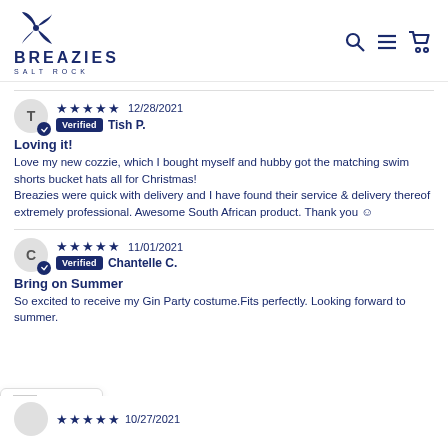[Figure (logo): Breazies Salt Rock logo with pinwheel icon in dark blue]
Review by Tish P. — 5 stars — 12/28/2021 — Verified
Loving it!
Love my new cozzie, which I bought myself and hubby got the matching swim shorts bucket hats all for Christmas!
Breazies were quick with delivery and I have found their service & delivery thereof extremely professional. Awesome South African product. Thank you 🙂
Review by Chantelle C. — 5 stars — 11/01/2021 — Verified
Bring on Summer
So excited to receive my Gin Party costume.Fits perfectly. Looking forward to summer.
USD currency selector
Review — 5 stars — 10/27/2021